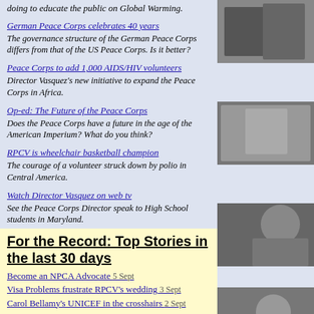doing to educate the public on Global Warming.
German Peace Corps celebrates 40 years — The governance structure of the German Peace Corps differs from that of the US Peace Corps. Is it better?
Peace Corps to add 1,000 AIDS/HIV volunteers — Director Vasquez's new initiative to expand the Peace Corps in Africa.
Op-ed: The Future of the Peace Corps — Does the Peace Corps have a future in the age of the American Imperium? What do you think?
RPCV is wheelchair basketball champion — The courage of a volunteer struck down by polio in Central America.
Watch Director Vasquez on web tv — See the Peace Corps Director speak to High School students in Maryland.
The Digital Freedom Initiative — The innovative new program to wire Senegal.
For the Record: Top Stories in the last 30 days
Become an NPCA Advocate 5 Sept
Visa Problems frustrate RPCV's wedding 3 Sept
Carol Bellamy's UNICEF in the crosshairs 2 Sept